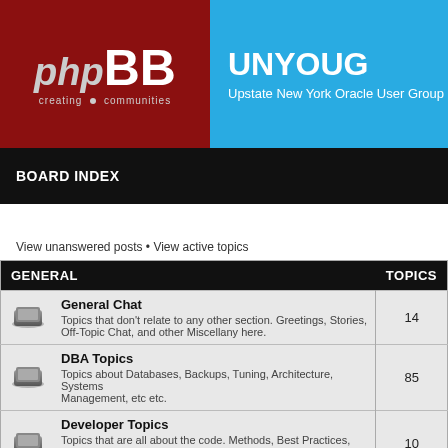[Figure (logo): phpBB logo with 'creating communities' text on dark red background]
UNYOUG
Upstate New York Oracle User Group
BOARD INDEX
View unanswered posts • View active topics
| GENERAL |  | TOPICS |
| --- | --- | --- |
| [icon] | General Chat
Topics that don't relate to any other section. Greetings, Stories, Off-Topic Chat, and other Miscellany here. | 14 |
| [icon] | DBA Topics
Topics about Databases, Backups, Tuning, Architecture, Systems Management, etc etc. | 85 |
| [icon] | Developer Topics
Topics that are all about the code. Methods, Best Practices, SQL Instruction, and Oracle Apps topics. | 10 |
| [icon] | Tools and Tricks
Software that helps you do your job! Whether you endorse Notepad or want to talk about the newest version of SQL Developer, here's the place! | 13 |